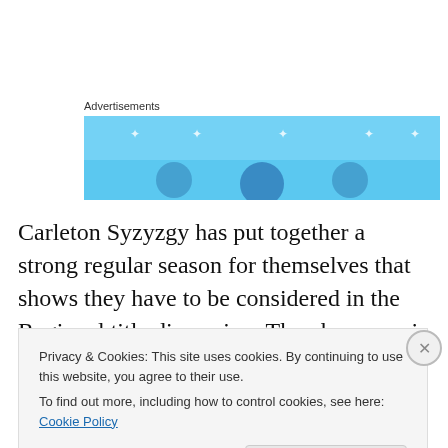Advertisements
[Figure (other): Advertisement banner with light blue background and circular icon shapes]
Carleton Syzyzgy has put together a strong regular season for themselves that shows they have to be considered in the Regional title discussion. They have a pair of big wins over Virginia and wins over Ohio State, Central Florida, and Stanford. They're kryptonite has been
Privacy & Cookies: This site uses cookies. By continuing to use this website, you agree to their use.
To find out more, including how to control cookies, see here: Cookie Policy
Close and accept